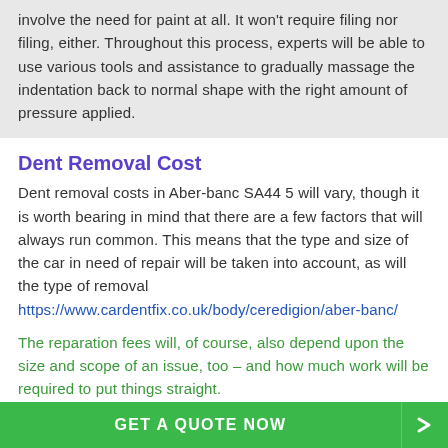involve the need for paint at all. It won't require filing nor filing, either. Throughout this process, experts will be able to use various tools and assistance to gradually massage the indentation back to normal shape with the right amount of pressure applied.
Dent Removal Cost
Dent removal costs in Aber-banc SA44 5 will vary, though it is worth bearing in mind that there are a few factors that will always run common. This means that the type and size of the car in need of repair will be taken into account, as will the type of removal https://www.cardentfix.co.uk/body/ceredigion/aber-banc/
The reparation fees will, of course, also depend upon the size and scope of an issue, too – and how much work will be required to put things straight.
Car Dent Repair Cost UK
The average or general repair cost UK drivers and
GET A QUOTE NOW